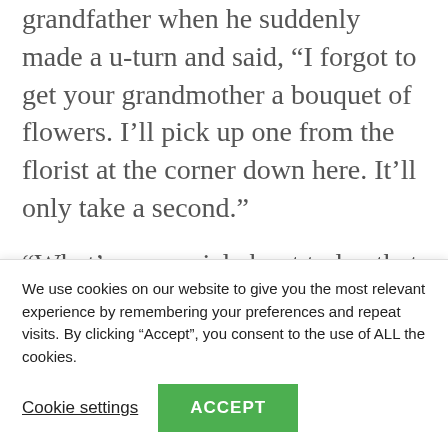grandfather when he suddenly made a u-turn and said, “I forgot to get your grandmother a bouquet of flowers. I’ll pick up one from the florist at the corner down here. It’ll only take a second.”
“What’s so special about today that you have to buy her flowers?” I asked.
“There’s nothing specifically special
We use cookies on our website to give you the most relevant experience by remembering your preferences and repeat visits. By clicking “Accept”, you consent to the use of ALL the cookies.
Cookie settings
ACCEPT